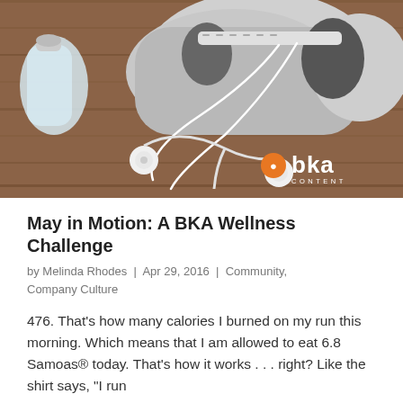[Figure (photo): Photo of running sneakers, white earbuds, and a water bottle on a wooden surface. BKA Content logo watermark in the bottom-right corner.]
May in Motion: A BKA Wellness Challenge
by Melinda Rhodes | Apr 29, 2016 | Community, Company Culture
476. That's how many calories I burned on my run this morning. Which means that I am allowed to eat 6.8 Samoas® today. That's how it works . . . right? Like the shirt says, "I run